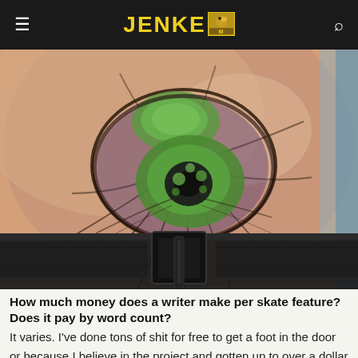JENKEM
[Figure (photo): Close-up photo of a person's side/torso showing a peacock feather tattoo with green eye detail, wearing a black belt/waistband]
How much money does a writer make per skate feature? Does it pay by word count?
It varies. I've done tons of shit for free to get a foot in the door or because I believe in the project and gotten up to over a dollar per word for ESPN magazine. Done pieces for a flat rate